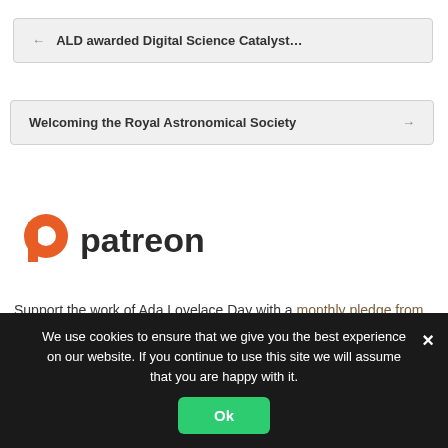← ALD awarded Digital Science Catalyst...
Welcoming the Royal Astronomical Society →
[Figure (logo): Patreon logo with orange P icon and dark 'patreon' wordmark]
Support the work of Ada Lovelace Day with a monthly pledge from just $1 (66p) via Patreon.
We use cookies to ensure that we give you the best experience on our website. If you continue to use this site we will assume that you are happy with it.
Ok